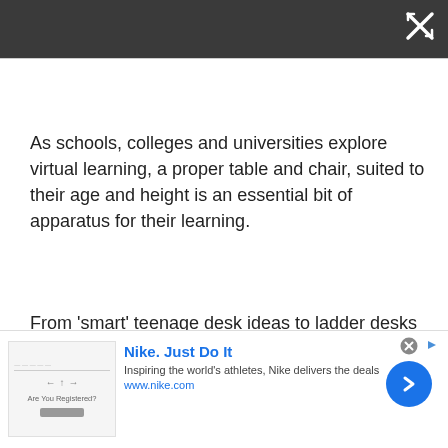[Figure (screenshot): Dark gray top bar with a close/expand icon (X with arrows) in the top right corner]
As schools, colleges and universities explore virtual learning, a proper table and chair, suited to their age and height is an essential bit of apparatus for their learning.
From 'smart' teenage desk ideas to ladder desks that make use of vertical space, give your teen the room they deserve to do homework or mindful doodling!
[Figure (screenshot): Nike advertisement banner: Nike logo area on the left, 'Nike. Just Do It' brand name in blue bold text, tagline 'Inspiring the world's athletes, Nike delivers the deals', URL www.nike.com in blue, blue circular arrow button on the right]